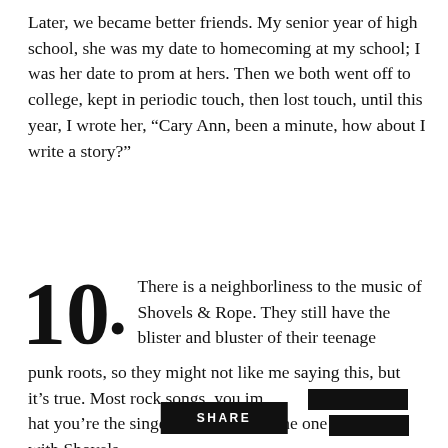Later, we became better friends. My senior year of high school, she was my date to homecoming at my school; I was her date to prom at hers. Then we both went off to college, kept in periodic touch, then lost touch, until this year, I wrote her, “Cary Ann, been a minute, how about I write a story?”
10. There is a neighborliness to the music of Shovels & Rope. They still have the blister and bluster of their teenage punk roots, so they might not like me saying this, but it’s true. Most rock songs, you imagine that you’re the singer or that you’re the one... with Shovels